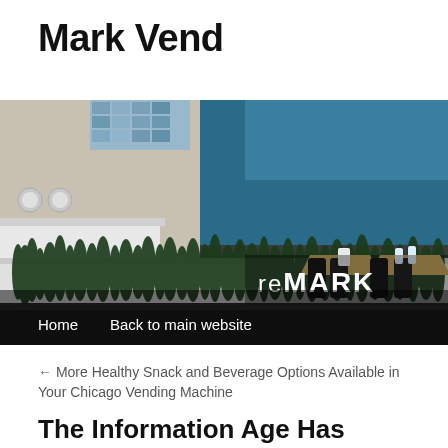Mark Vend
[Figure (photo): Office breakroom/micro-market with plants, seating, tables, and a 'reMAR K' branded sign visible on the right side]
Home   Back to main website
← More Healthy Snack and Beverage Options Available in Your Chicago Vending Machine
The Information Age Has Arrived Chi...